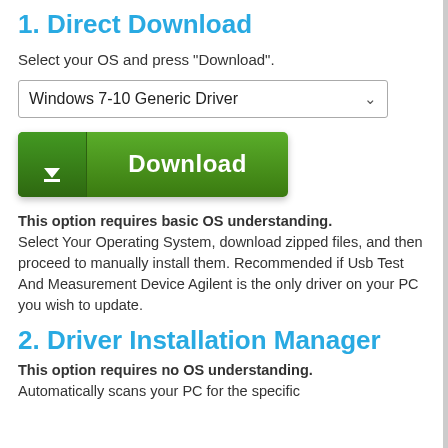1. Direct Download
Select your OS and press "Download".
[Figure (other): Dropdown selector showing 'Windows 7-10 Generic Driver']
[Figure (other): Green Download button with downward arrow icon and 'Download' text]
This option requires basic OS understanding. Select Your Operating System, download zipped files, and then proceed to manually install them. Recommended if Usb Test And Measurement Device Agilent is the only driver on your PC you wish to update.
2. Driver Installation Manager
This option requires no OS understanding. Automatically scans your PC for the specific